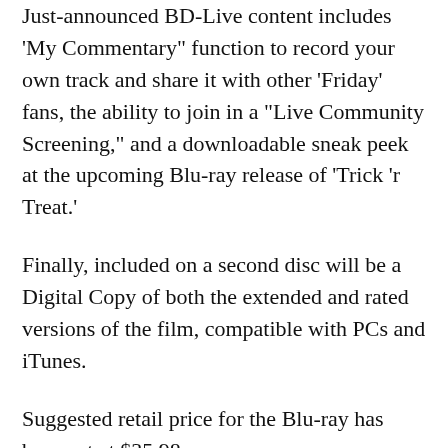Just-announced BD-Live content includes 'My Commentary" function to record your own track and share it with other 'Friday' fans, the ability to join in a "Live Community Screening," and a downloadable sneak peek at the upcoming Blu-ray release of 'Trick 'r Treat.'
Finally, included on a second disc will be a Digital Copy of both the extended and rated versions of the film, compatible with PCs and iTunes.
Suggested retail price for the Blu-ray has been set at $35.98.
You'll find the latest specs for 'Friday the 13th (2009)' linked from our Blu-ray Release Schedule, where it's indexed under June 16.